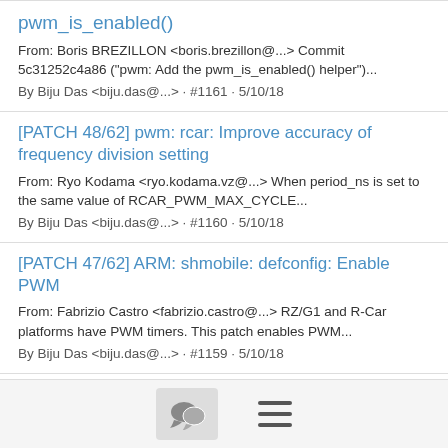pwm_is_enabled()
From: Boris BREZILLON <boris.brezillon@...> Commit 5c31252c4a86 ("pwm: Add the pwm_is_enabled() helper")...
By Biju Das <biju.das@...> · #1161 · 5/10/18
[PATCH 48/62] pwm: rcar: Improve accuracy of frequency division setting
From: Ryo Kodama <ryo.kodama.vz@...> When period_ns is set to the same value of RCAR_PWM_MAX_CYCLE...
By Biju Das <biju.das@...> · #1160 · 5/10/18
[PATCH 47/62] ARM: shmobile: defconfig: Enable PWM
From: Fabrizio Castro <fabrizio.castro@...> RZ/G1 and R-Car platforms have PWM timers. This patch enables PWM...
By Biju Das <biju.das@...> · #1159 · 5/10/18
[PATCH 46/62] ARM: multi_v7_defconfig: Select PWM_RCAR...